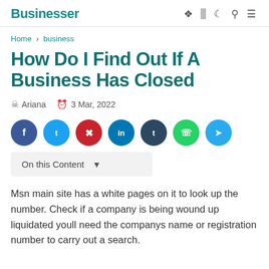Businesser
Home › business
How Do I Find Out If A Business Has Closed
Ariana   3 Mar, 2022
[Figure (other): Social sharing buttons: Facebook, Twitter, Pinterest, LinkedIn, Tumblr, WhatsApp, Telegram]
On this Content
Msn main site has a white pages on it to look up the number. Check if a company is being wound up liquidated youll need the companys name or registration number to carry out a search.